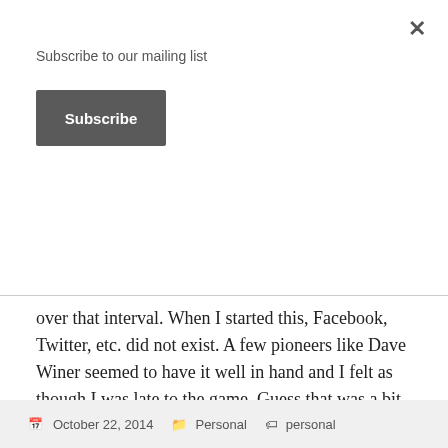Subscribe to our mailing list
Subscribe
over that interval. When I started this, Facebook, Twitter, etc. did not exist. A few pioneers like Dave Winer seemed to have it well in hand and I felt as though I was late to the game. Guess that was a bit naive.
This has been a source of continuing learning and a entree to a richer network than I would have ever imagined. More than reason enough to keep the experiment running.
October 22, 2014   Personal   personal